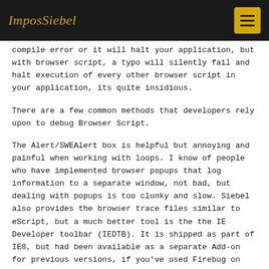ImposSiebel
compile error or it will halt your application, but with browser script, a typo will silently fail and halt execution of every other browser script in your application, its quite insidious.
There are a few common methods that developers rely upon to debug Browser Script.
The Alert/SWEAlert box is helpful but annoying and painful when working with loops. I know of people who have implemented browser popups that log information to a separate window, not bad, but dealing with popups is too clunky and slow. Siebel also provides the browser trace files similar to eScript, but a much better tool is the the IE Developer toolbar (IEDTB). It is shipped as part of IE8, but had been available as a separate Add-on for previous versions, if you've used Firebug on Firefox before, then this will be familiar to you.
The IEDTB allows the Siebel developer to